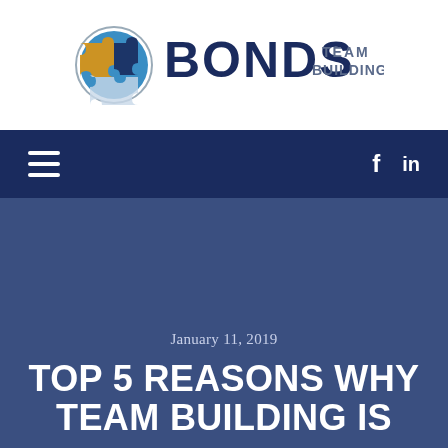[Figure (logo): Bonds Team Building logo with puzzle piece globe icon and bold text]
Navigation bar with hamburger menu, Facebook icon, and LinkedIn icon
January 11, 2019
TOP 5 REASONS WHY TEAM BUILDING IS